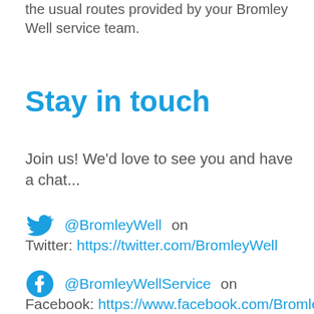the usual routes provided by your Bromley Well service team.
Stay in touch
Join us!  We'd love to see you and have a chat...
@BromleyWell on Twitter: https://twitter.com/BromleyWell
@BromleyWellService on Facebook: https://www.facebook.com/BromleyW...